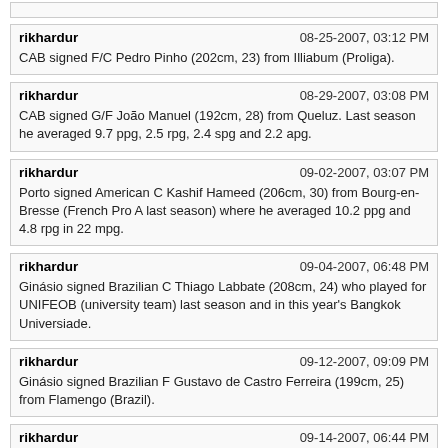(partial post stub at top)
rikhardur | 08-25-2007, 03:12 PM
CAB signed F/C Pedro Pinho (202cm, 23) from Illiabum (Proliga).
rikhardur | 08-29-2007, 03:08 PM
CAB signed G/F João Manuel (192cm, 28) from Queluz. Last season he averaged 9.7 ppg, 2.5 rpg, 2.4 spg and 2.2 apg.
rikhardur | 09-02-2007, 03:07 PM
Porto signed American C Kashif Hameed (206cm, 30) from Bourg-en-Bresse (French Pro A last season) where he averaged 10.2 ppg and 4.8 rpg in 22 mpg.
rikhardur | 09-04-2007, 06:48 PM
Ginásio signed Brazilian C Thiago Labbate (208cm, 24) who played for UNIFEOB (university team) last season and in this year's Bangkok Universiade.
rikhardur | 09-12-2007, 09:09 PM
Ginásio signed Brazilian F Gustavo de Castro Ferreira (199cm, 25) from Flamengo (Brazil).
rikhardur | 09-14-2007, 06:44 PM
CAB signed C Nick Neumann (213cm, 27) from Ginásio and C Rome Sanders (203cm, 23) from Florida A&M Rattlers (NCAA).